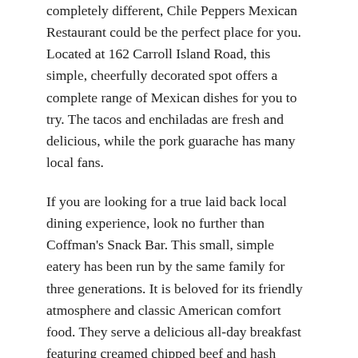completely different, Chile Peppers Mexican Restaurant could be the perfect place for you. Located at 162 Carroll Island Road, this simple, cheerfully decorated spot offers a complete range of Mexican dishes for you to try. The tacos and enchiladas are fresh and delicious, while the pork guarache has many local fans.
If you are looking for a true laid back local dining experience, look no further than Coffman's Snack Bar. This small, simple eatery has been run by the same family for three generations. It is beloved for its friendly atmosphere and classic American comfort food. They serve a delicious all-day breakfast featuring creamed chipped beef and hash browns. They also offer a famous chili dog at an extremely affordable price. Coffman's is the perfect place to go if you want to experience the friendly, laid-back local culture of Middle River.
If you have more than a few days to spend in Middle River, there are many more delicious restaurants for you to try. River Watch